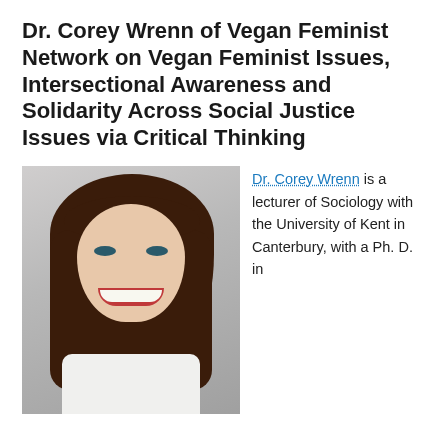Dr. Corey Wrenn of Vegan Feminist Network on Vegan Feminist Issues, Intersectional Awareness and Solidarity Across Social Justice Issues via Critical Thinking
[Figure (photo): Portrait photo of Dr. Corey Wrenn, a woman with long dark brown hair with bangs, smiling, wearing a white top, photographed against a light grey background.]
Dr. Corey Wrenn is a lecturer of Sociology with the University of Kent in Canterbury, with a Ph. D. in